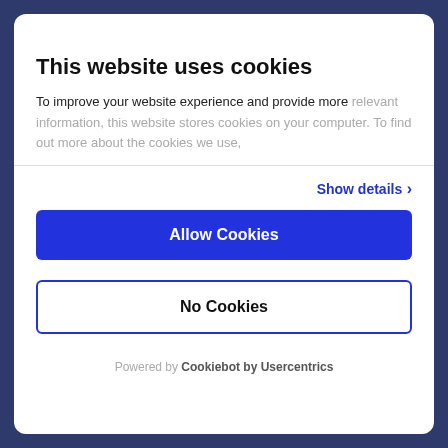This website uses cookies
To improve your website experience and provide more relevant information, this website stores cookies on your computer. To find out more about the cookies we use,
Show details
Allow Cookies
No Cookies
Powered by Cookiebot by Usercentrics